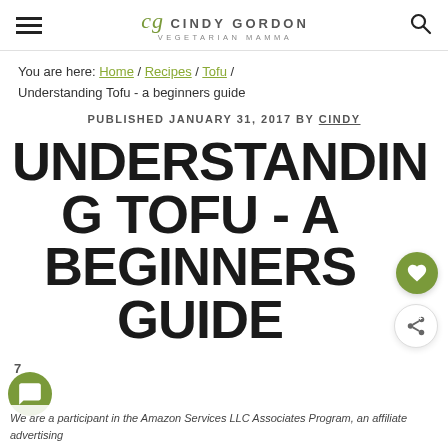cg CINDY GORDON VEGETARIAN MAMMA
You are here: Home / Recipes / Tofu / Understanding Tofu - a beginners guide
PUBLISHED JANUARY 31, 2017 BY CINDY
UNDERSTANDING TOFU - A BEGINNERS GUIDE
We are a participant in the Amazon Services LLC Associates Program, an affiliate advertising